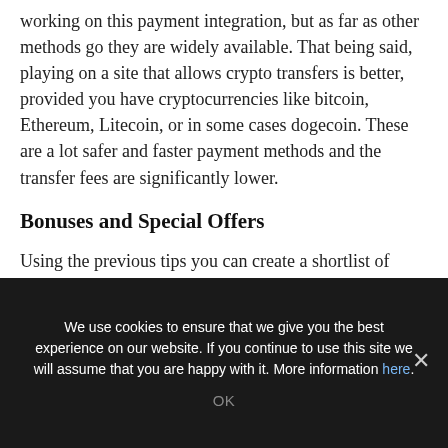working on this payment integration, but as far as other methods go they are widely available. That being said, playing on a site that allows crypto transfers is better, provided you have cryptocurrencies like bitcoin, Ethereum, Litecoin, or in some cases dogecoin. These are a lot safer and faster payment methods and the transfer fees are significantly lower.
Bonuses and Special Offers
Using the previous tips you can create a shortlist of potential online casinos. Now when you need to choose between different operators
We use cookies to ensure that we give you the best experience on our website. If you continue to use this site we will assume that you are happy with it. More information here.